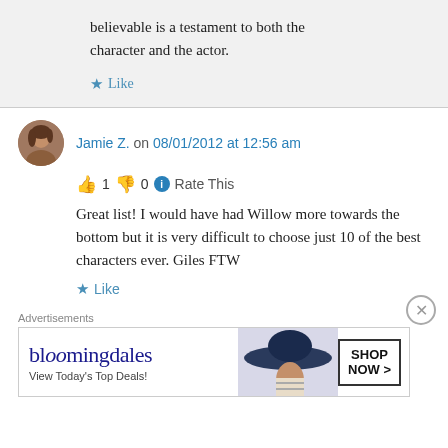believable is a testament to both the character and the actor.
Like
Jamie Z. on 08/01/2012 at 12:56 am
👍 1 👎 0 ℹ Rate This
Great list! I would have had Willow more towards the bottom but it is very difficult to choose just 10 of the best characters ever. Giles FTW
Like
Advertisements
[Figure (other): Bloomingdale's advertisement banner with hat image and Shop Now button]